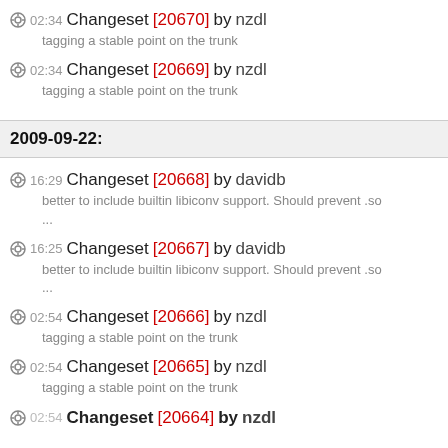02:34 Changeset [20670] by nzdl — tagging a stable point on the trunk
02:34 Changeset [20669] by nzdl — tagging a stable point on the trunk
2009-09-22:
16:29 Changeset [20668] by davidb — better to include builtin libiconv support. Should prevent .so ...
16:25 Changeset [20667] by davidb — better to include builtin libiconv support. Should prevent .so ...
02:54 Changeset [20666] by nzdl — tagging a stable point on the trunk
02:54 Changeset [20665] by nzdl — tagging a stable point on the trunk
02:54 Changeset [20664] by nzdl